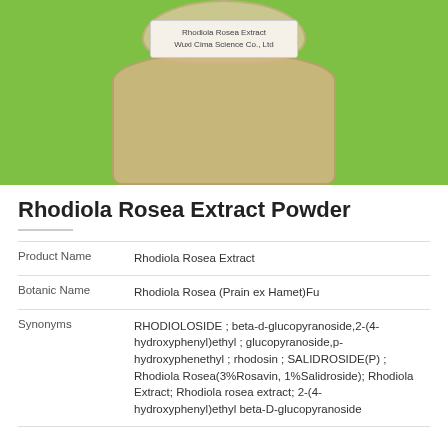[Figure (photo): Photograph of a jar of Rhodiola Rosea Extract powder on a green background. The jar shows a label reading 'Rhodiola Rosea Extract, Wuxi Cima Science Co., Ltd'. The powder in the jar is light brown/tan colored.]
Rhodiola Rosea Extract Powder
| Product Name | Rhodiola Rosea Extract |
| Botanic Name | Rhodiola Rosea (Prain ex Hamet)Fu |
| Synonyms | RHODIOLOSIDE ; beta-d-glucopyranoside,2-(4-hydroxyphenyl)ethyl ; glucopyranoside,p-hydroxyphenethyl ; rhodosin ; SALIDROSIDE(P) ; Rhodiola Rosea(3%Rosavin, 1%Salidroside); Rhodiola Extract; Rhodiola rosea extract; 2-(4-hydroxyphenyl)ethyl beta-D-glucopyranoside |